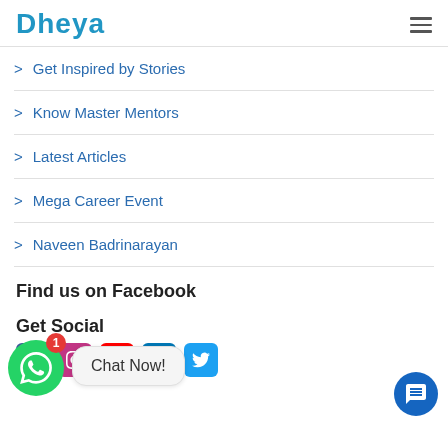Dheya
> Get Inspired by Stories
> Know Master Mentors
> Latest Articles
> Mega Career Event
> Naveen Badrinarayan
Find us on Facebook
Get Social
[Figure (other): WhatsApp chat widget with green bubble icon, red badge showing '1', and 'Chat Now!' speech bubble popup]
[Figure (other): Social media icon buttons: Facebook, Instagram, YouTube, LinkedIn, Twitter]